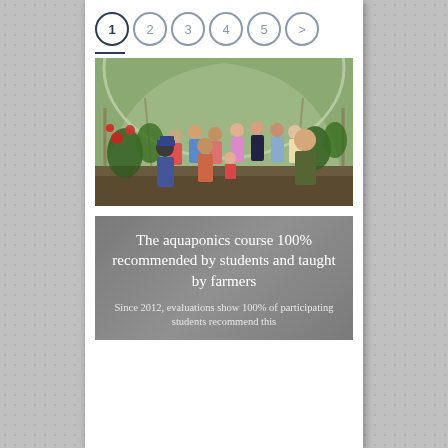[Figure (other): Pagination navigation with circles numbered 1 through 5 and a greater-than arrow, with circle 1 highlighted/active]
[Figure (photo): Group of people standing and sitting inside a greenhouse/hoop house with plants and aquaponic growing beds, during an educational farm tour or course]
The aquaponics course 100% recommended by students and taught by farmers
Since 2012, evaluations show 100% of participating students recommend this